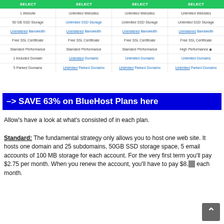[Figure (table-as-image): Pricing comparison table for web hosting plans showing SELECT buttons and feature rows: 1 Website / Unlimited Websites across 4 columns; 50 GB SSD Storage / Unlimited SSD Storage; Unmetered Bandwidth; Free SSL Certificate; Standard/High Performance; 1 Included Domain / Unlimited Domains; 5 Parked Domains / Unlimited Parked Domains]
–> SAVE 63% on BlueHost Plans here
Allow's have a look at what's consisted of in each plan.
Standard: The fundamental strategy only allows you to host one web site. It hosts one domain and 25 subdomains, 50GB SSD storage space, 5 email accounts of 100 MB storage for each account. For the very first term you'll pay $2.75 per month. When you renew the account, you'll have to pay $8.99 each month.